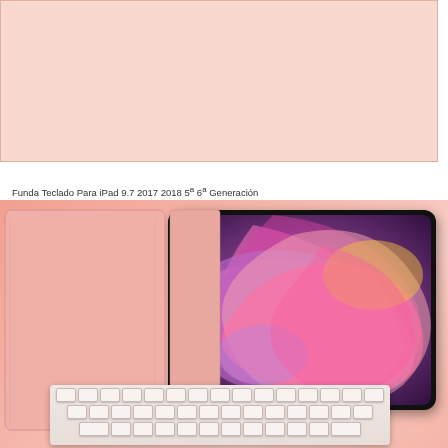Funda Teclado Para iPad 9.7 2017 2018 5ª 6ª Generación
Home
Computación
Tablets y Accesorios
Accesorios
Teclados
Accesorios Teclados
Funda Teclado Para iPad 9.7 2017 2018 5ª 6ª Generación
[Figure (photo): Pink iPad keyboard case with tablet showing colorful swirl design on screen, and detachable pink/white Bluetooth keyboard at bottom]